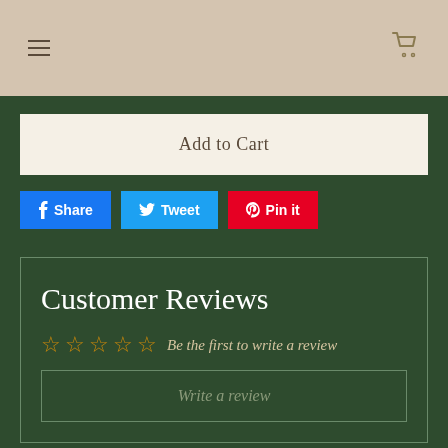Navigation bar with hamburger menu and cart icon
Add to Cart
Share  Tweet  Pin it
Customer Reviews
Be the first to write a review
Write a review